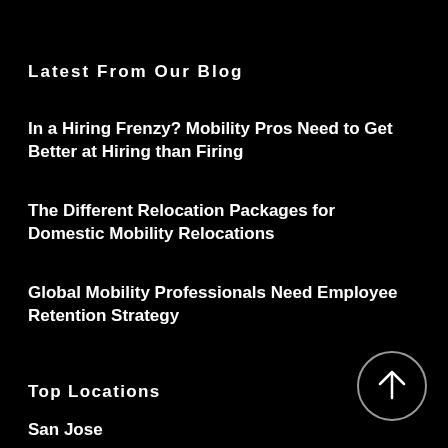Latest From Our Blog
In a Hiring Frenzy? Mobility Pros Need to Get Better at Hiring than Firing
The Different Relocation Packages for Domestic Mobility Relocations
Global Mobility Professionals Need Employee Retention Strategy
[Figure (illustration): Circle with upward arrow icon (scroll to top button)]
Top Locations
San Jose